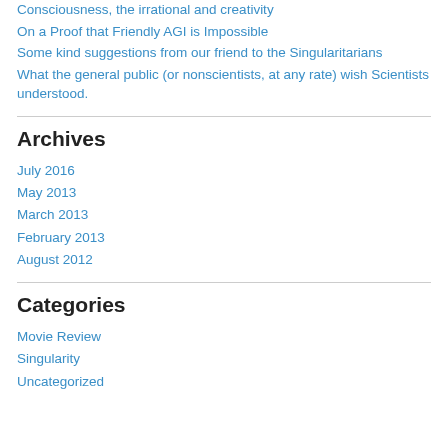Consciousness, the irrational and creativity
On a Proof that Friendly AGI is Impossible
Some kind suggestions from our friend to the Singularitarians
What the general public (or nonscientists, at any rate) wish Scientists understood.
Archives
July 2016
May 2013
March 2013
February 2013
August 2012
Categories
Movie Review
Singularity
Uncategorized